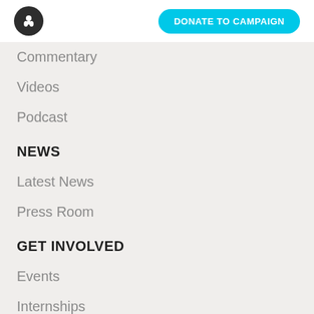DONATE TO CAMPAIGN
Commentary
Videos
Podcast
NEWS
Latest News
Press Room
GET INVOLVED
Events
Internships
Jobs
Donate
Contact